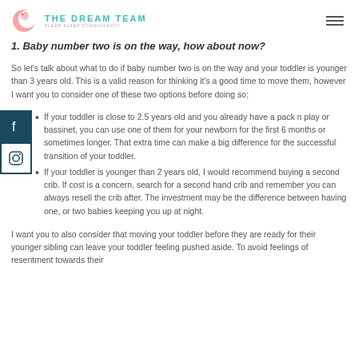THE DREAM TEAM — Sleep Sleep Consultancy
1. Baby number two is on the way, how about now?
So let's talk about what to do if baby number two is on the way and your toddler is younger than 3 years old. This is a valid reason for thinking it's a good time to move them, however I want you to consider one of these two options before doing so;
If your toddler is close to 2.5 years old and you already have a pack n play or bassinet, you can use one of them for your newborn for the first 6 months or sometimes longer. That extra time can make a big difference for the successful transition of your toddler.
If your toddler is younger than 2 years old, I would recommend buying a second crib. If cost is a concern, search for a second hand crib and remember you can always resell the crib after. The investment may be the difference between having one, or two babies keeping you up at night.
I want you to also consider that moving your toddler before they are ready for their younger sibling can leave your toddler feeling pushed aside. To avoid feelings of resentment towards their